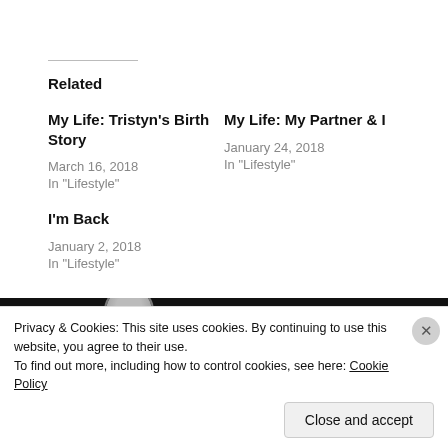Related
My Life: Tristyn's Birth Story
March 16, 2018
In "Lifestyle"
My Life: My Partner & I
January 24, 2018
In "Lifestyle"
I'm Back
January 2, 2018
In "Lifestyle"
[Figure (photo): Dark banner with circular avatar photo and upward arrow, partial author card]
Privacy & Cookies: This site uses cookies. By continuing to use this website, you agree to their use.
To find out more, including how to control cookies, see here: Cookie Policy
Close and accept